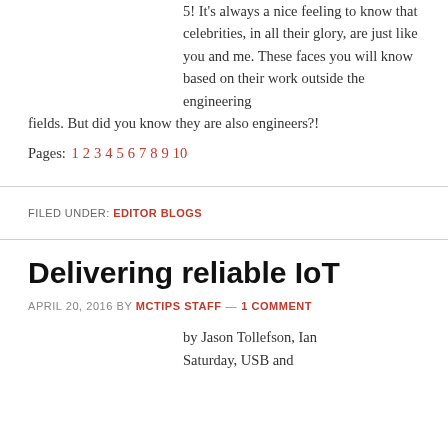5! It's always a nice feeling to know that celebrities, in all their glory, are just like you and me. These faces you will know based on their work outside the engineering fields. But did you know they are also engineers?!
Pages: 1 2 3 4 5 6 7 8 9 10
FILED UNDER: EDITOR BLOGS
Delivering reliable IoT
APRIL 20, 2016 BY MCTIPS STAFF — 1 COMMENT
by Jason Tollefson, Ian Saturday, USB and